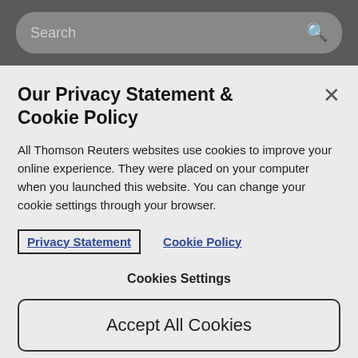[Figure (screenshot): Search bar with magnifying glass icon on a dark grey background]
Our Privacy Statement & Cookie Policy
All Thomson Reuters websites use cookies to improve your online experience. They were placed on your computer when you launched this website. You can change your cookie settings through your browser.
Privacy Statement   Cookie Policy
Cookies Settings
Accept All Cookies